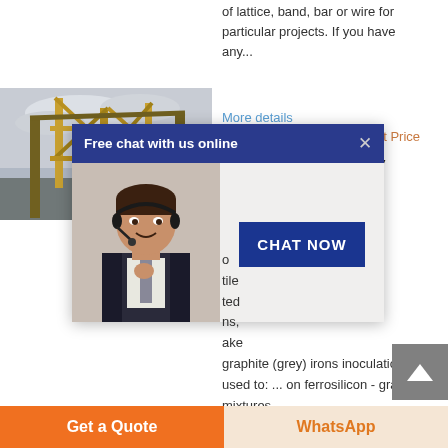of lattice, band, bar or wire for particular projects. If you have any...
More details
» Get Price
Read PDF - Foundry Journal
[Figure (photo): Industrial lattice/truss structure photo with cloudy sky background]
[Figure (screenshot): Live chat popup overlay with blue header 'Free chat with us online', a customer service representative photo, and a 'CHAT NOW' button]
o tile ted ns, ake graphite (grey) irons inoculation is used to: ... on ferrosilicon - graphite mixtures
Get a Quote
WhatsApp